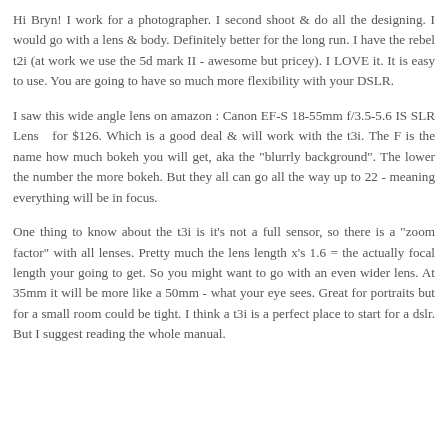Hi Bryn! I work for a photographer. I second shoot & do all the designing. I would go with a lens & body. Definitely better for the long run. I have the rebel t2i (at work we use the 5d mark II - awesome but pricey). I LOVE it. It is easy to use. You are going to have so much more flexibility with your DSLR.
I saw this wide angle lens on amazon : Canon EF-S 18-55mm f/3.5-5.6 IS SLR Lens  for $126. Which is a good deal & will work with the t3i. The F is the name how much bokeh you will get, aka the "blurrly background". The lower the number the more bokeh. But they all can go all the way up to 22 - meaning everything will be in focus.
One thing to know about the t3i is it's not a full sensor, so there is a "zoom factor" with all lenses. Pretty much the lens length x's 1.6 = the actually focal length your going to get. So you might want to go with an even wider lens. At 35mm it will be more like a 50mm - what your eye sees. Great for portraits but for a small room could be tight. I think a t3i is a perfect place to start for a dslr. But I suggest reading the whole manual.